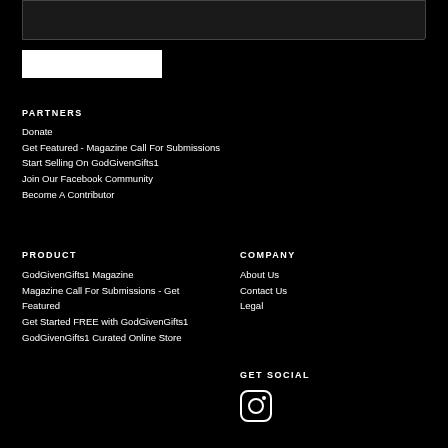[Figure (screenshot): Text area input box at top of page]
[Figure (screenshot): White button below text area]
PARTNERS
Donate
Get Featured - Magazine Call For Submissions
Start Selling On GodGivenGifts1
Join Our Facebook Community
Become A Contributor
PRODUCT
GodGivenGifts1 Magazine
Magazine Call For Submissions - Get Featured
Get Started FREE with GodGivenGifts1
GodGivenGifts1 Curated Online Store
COMPANY
About Us
Contact Us
Legal
GET SOCIAL
[Figure (logo): Instagram icon]